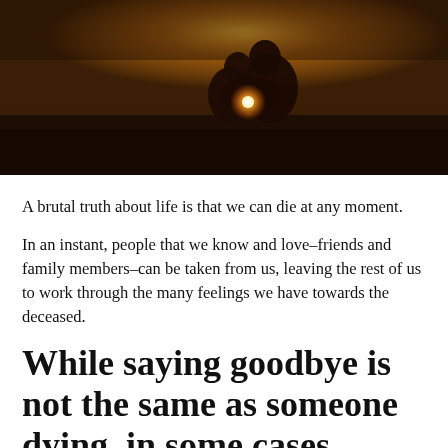[Figure (photo): Two people sitting together outdoors at sunset/golden hour, photographed from behind. Warm amber/orange tones. One person has a glowing light near their hand.]
A brutal truth about life is that we can die at any moment.
In an instant, people that we know and love–friends and family members–can be taken from us, leaving the rest of us to work through the many feelings we have towards the deceased.
While saying goodbye is not the same as someone dying, in some cases